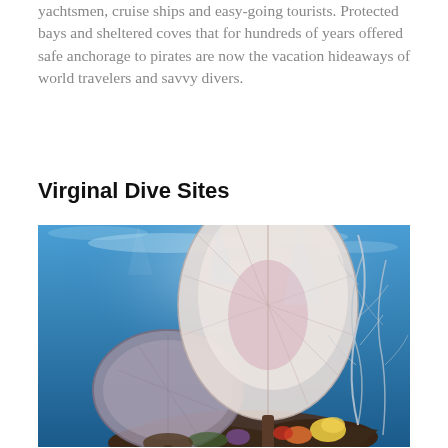yachtsmen, cruise ships and easy-going tourists. Protected bays and sheltered coves that for hundreds of years offered safe anchorage to pirates are now the vacation hideaways of world travelers and savvy divers.
Virginal Dive Sites
[Figure (photo): Underwater photograph showing colorful coral reef with sea fans and marine life against a blue ocean background.]